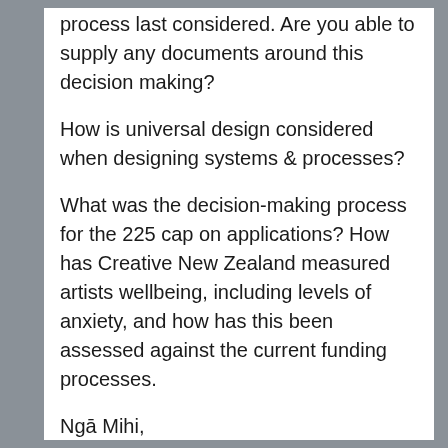process last considered. Are you able to supply any documents around this decision making?
How is universal design considered when designing systems & processes?
What was the decision-making process for the 225 cap on applications? How has Creative New Zealand measured artists wellbeing, including levels of anxiety, and how has this been assessed against the current funding processes.
Ngā Mihi,
Nic Lane [he/him]